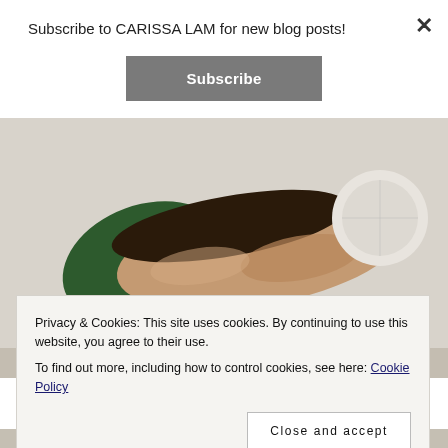Subscribe to CARISSA LAM for new blog posts!
Subscribe
×
[Figure (photo): A plated fish dish with dark seared skin on a white plate with green sauce and a white mushroom slice, shot from above on a light background.]
Privacy & Cookies: This site uses cookies. By continuing to use this website, you agree to their use.
To find out more, including how to control cookies, see here: Cookie Policy
Close and accept